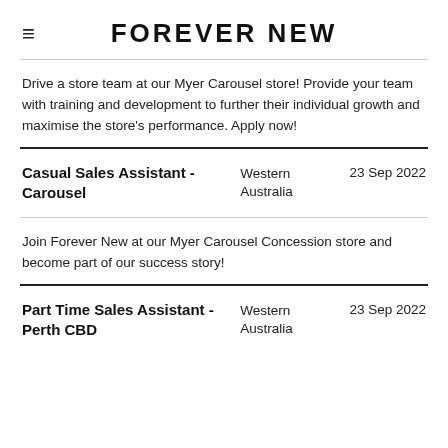FOREVER NEW
Drive a store team at our Myer Carousel store! Provide your team with training and development to further their individual growth and maximise the store's performance. Apply now!
Casual Sales Assistant - Carousel
Western Australia  23 Sep 2022
Join Forever New at our Myer Carousel Concession store and become part of our success story!
Part Time Sales Assistant - Perth CBD
Western Australia  23 Sep 2022